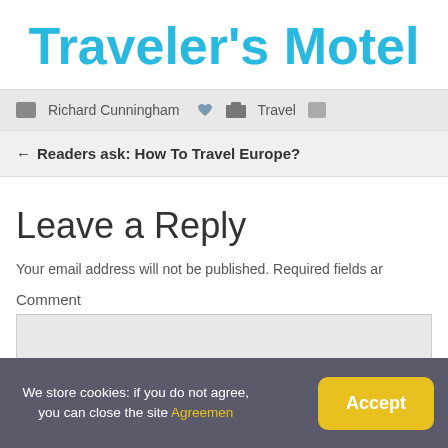Traveler's Motel
[Figure (screenshot): Navigation bar snippet showing icons, 'Richard Cunningham', heart icon, folder icon, and 'Travel' label]
← Readers ask: How To Travel Europe?
Leave a Reply
Your email address will not be published. Required fields ar
Comment
We store cookies: if you do not agree, you can close the site Agreemen
Accept